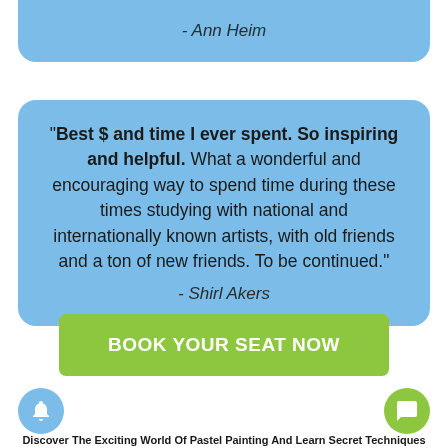- Ann Heim
"Best $ and time I ever spent. So inspiring and helpful. What a wonderful and encouraging way to spend time during these times studying with national and internationally known artists, with old friends and a ton of new friends. To be continued." - Shirl Akers
BOOK YOUR SEAT NOW
Discover The Exciting World Of Pastel Painting And Learn Secret Techniques